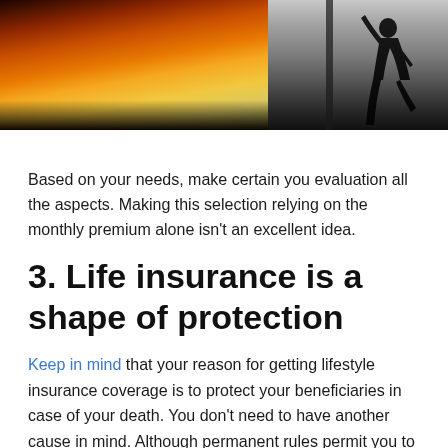[Figure (photo): Split photo: left side shows a warm sunset with orange and yellow sky over a dark landscape; right side shows a black and white silhouette of a person jumping or dancing against a cloudy sky]
Based on your needs, make certain you evaluation all the aspects. Making this selection relying on the monthly premium alone isn't an excellent idea.
3. Life insurance is a shape of protection
Keep in mind that your reason for getting lifestyle insurance coverage is to protect your beneficiaries in case of your death. You don't need to have another cause in mind. Although permanent rules permit you to earn coins with time, you cannot bear in mind them as a shape of funding. This is